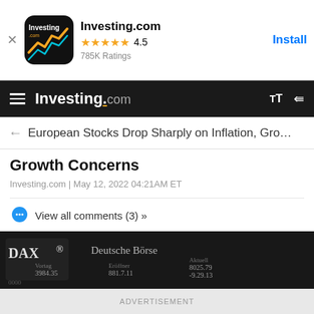[Figure (screenshot): Investing.com app install banner with logo icon, 4.5 star rating, 785K Ratings, and Install button]
Investing.com — navigation bar with hamburger menu, logo, text size and share icons
← European Stocks Drop Sharply on Inflation, Gro…
Growth Concerns
Investing.com | May 12, 2022 04:21AM ET
View all comments (3) »
[Figure (photo): Dark photo showing DAX Deutsche Börse stock exchange display board with blurred numbers]
ADVERTISEMENT